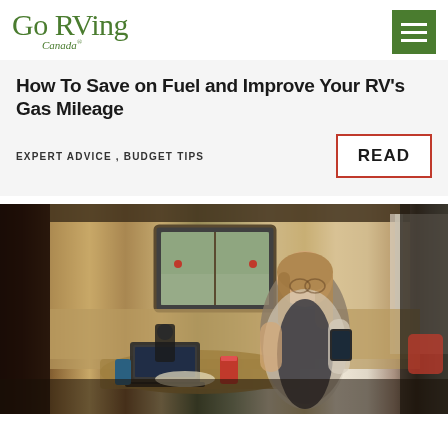Go RVing Canada
How To Save on Fuel and Improve Your RV's Gas Mileage
EXPERT ADVICE , BUDGET TIPS
READ
[Figure (photo): Woman sitting inside an RV at a table, looking at a tablet/phone. There is a laptop on the table, food, a red can, and a coffee maker. Outside the RV windows, a parking area with greenery is visible.]